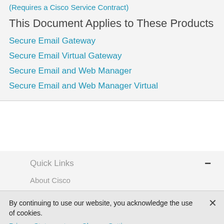(Requires a Cisco Service Contract)
This Document Applies to These Products
Secure Email Gateway
Secure Email Virtual Gateway
Secure Email and Web Manager
Secure Email and Web Manager Virtual
Quick Links
About Cisco
By continuing to use our website, you acknowledge the use of cookies.
Privacy Statement > Change Settings >